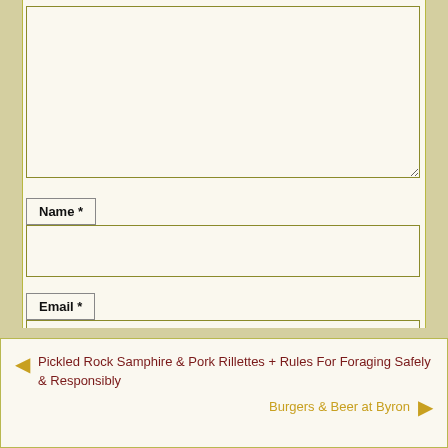[Figure (screenshot): Web comment form with Name, Email, Website fields and Post Comment button]
← Pickled Rock Samphire & Pork Rillettes + Rules For Foraging Safely & Responsibly
Burgers & Beer at Byron →